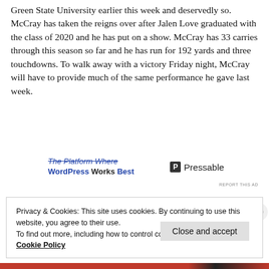Green State University earlier this week and deservedly so. McCray has taken the reigns over after Jalen Love graduated with the class of 2020 and he has put on a show. McCray has 33 carries through this season so far and he has run for 192 yards and three touchdowns. To walk away with a victory Friday night, McCray will have to provide much of the same performance he gave last week.
[Figure (other): Advertisement banner: 'The Platform Where WordPress Works Best' with Pressable logo]
REPORT THIS AD
Privacy & Cookies: This site uses cookies. By continuing to use this website, you agree to their use.
To find out more, including how to control cookies, see here:
Cookie Policy